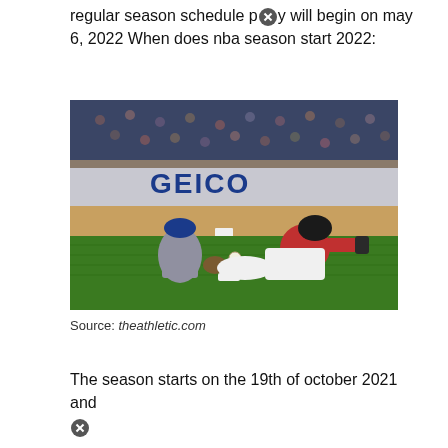regular season schedule p[x] will begin on may 6, 2022 When does nba season start 2022:
[Figure (photo): Baseball game action photo showing a Los Angeles Dodgers infielder crouching to catch the ball as an Arizona Diamondbacks player slides into base. GEICO advertisement banner visible in background.]
Source: theathletic.com
The season starts on the 19th of october 2021 and